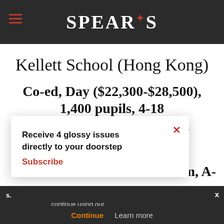SPEAR'S
Kellett School (Hong Kong)
Co-ed, Day ($22,300-$28,500), 1,400 pupils, 4-18 Focus: Love of learning & confidence for life
...culum, A-...s.
Receive 4 glossy issues directly to your doorstep Subscribe
...continue using our ...all cookies on this
Continue   Learn more